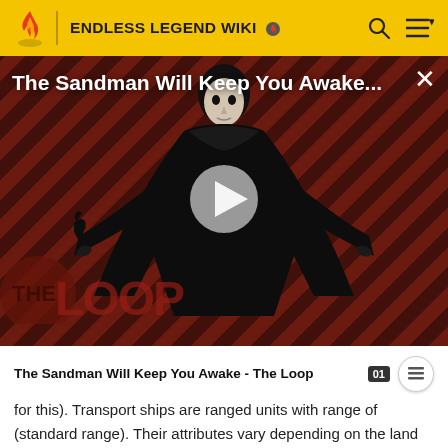ENDLESS LEGEND WIKI
[Figure (screenshot): Promotional video thumbnail for 'The Sandman Will Keep You Awake - The Loop' showing a dark-cloaked figure against a diagonal red and black striped background with a play button in the center and 'THE LOOP' watermark text at the bottom left. An X close button is in the top right corner.]
The Sandman Will Keep You Awake - The Loop
for this). Transport ships are ranged units with range of (standard range). Their attributes vary depending on the land unit that was embarked, although usually they are very low for non-hero units, and more or less normal for